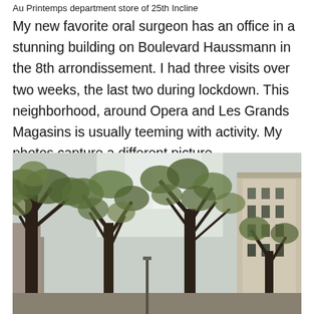Au Printemps department store of 25th Incline
My new favorite oral surgeon has an office in a stunning building on Boulevard Haussmann in the 8th arrondissement. I had three visits over two weeks, the last two during lockdown. This neighborhood, around Opera and Les Grands Magasins is usually teeming with activity. My photos capture a different picture.
[Figure (photo): Street-level photograph looking upward at tall leafy trees lining a Parisian boulevard, with the upper facade of a classic Haussmann-style stone building visible on the right side. Sky is pale and overcast. Trees show autumn green and brown foliage.]